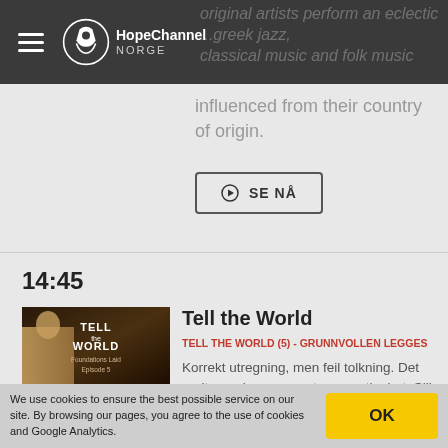HopeChannel NORGE
original artists perform an eclectic...greek jazz, classical music and folk music influenced from their country of origin.
SE NÅ
14:45
[Figure (screenshot): Thumbnail image for Tell the World - Foundations Laid Episode 5, showing a historical figure with the show title text overlay]
Tell the World
TELL THE WORLD (5) - GRUNNVOLLEN LEGGES
Korrekt utregning, men feil tolkning. Det endte med sorg, smerte og motløshet. Slik begynner fortellingen om Syvendedags Adventistkirken.
We use cookies to ensure the best possible service on our site. By browsing our pages, you agree to the use of cookies and Google Analytics.
OK